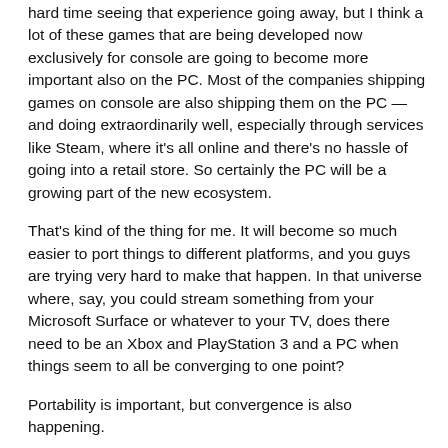hard time seeing that experience going away, but I think a lot of these games that are being developed now exclusively for console are going to become more important also on the PC. Most of the companies shipping games on console are also shipping them on the PC — and doing extraordinarily well, especially through services like Steam, where it's all online and there's no hassle of going into a retail store. So certainly the PC will be a growing part of the new ecosystem.
That's kind of the thing for me. It will become so much easier to port things to different platforms, and you guys are trying very hard to make that happen. In that universe where, say, you could stream something from your Microsoft Surface or whatever to your TV, does there need to be an Xbox and PlayStation 3 and a PC when things seem to all be converging to one point?
Portability is important, but convergence is also happening.
TS: Yeah, the convergence is happening, but it comes in fits and starts, and often ideas don't completely work. Also, the thing that's awesome about the controls on an iPad or an iPhone or maybe a future Microsoft tablet is the fact that you have this screen that displays images and you're able to touch it and